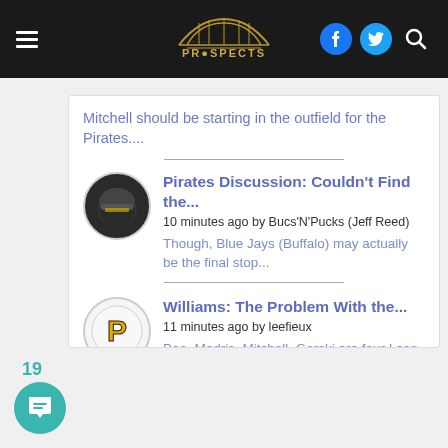Prospects navigation bar with logo, hamburger menu, Facebook icon, Twitter icon, search icon
Mitchell should be starting in the outfield for the Pirates....
Pirates Discussion: Couldn't Find the...
10 minutes ago by Bucs'N'Pucks (Jeff Reed)
Though, Blue Jays (Buffalo) may actually be the final stop...
Williams: The Problem With the...
11 minutes ago by leefieux
Bae, Madris, Mitchell, Gorski are four I can think of.
19